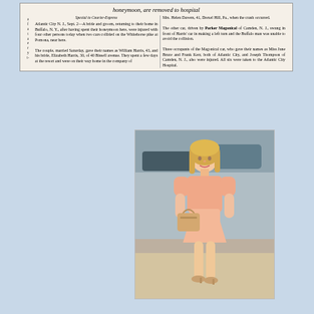[Figure (photo): Newspaper clipping about a bride and groom injured in a car crash on their honeymoon, from Courier-Express. Atlantic City N.J., Sept. 2 dateline. Two-column article.]
[Figure (photo): Color photograph of a young blonde woman wearing a peach/salmon colored short-sleeve top and matching mini skirt, carrying a tan handbag, walking on a sidewalk.]